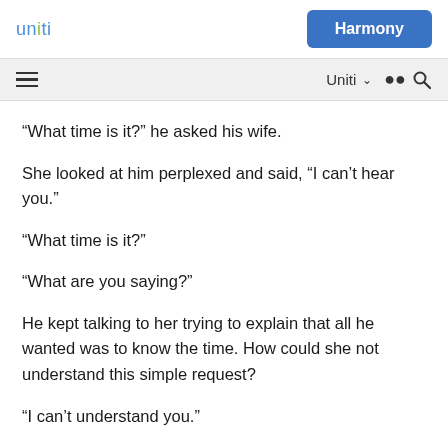uniti | Harmony
“What time is it?” he asked his wife.
She looked at him perplexed and said, “I can’t hear you.”
“What time is it?”
“What are you saying?”
He kept talking to her trying to explain that all he wanted was to know the time. How could she not understand this simple request?
“I can’t understand you.”